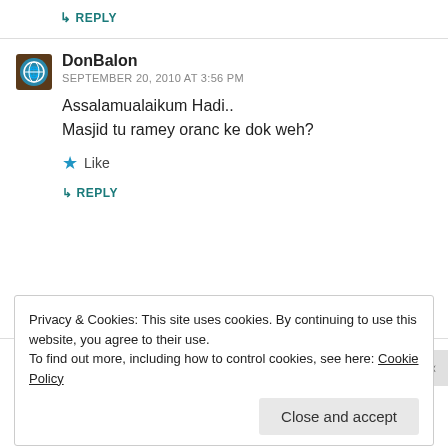↳ REPLY
DonBalon
SEPTEMBER 20, 2010 AT 3:56 PM
Assalamualaikum Hadi..
Masjid tu ramey oranc ke dok weh?
★ Like
↳ REPLY
Privacy & Cookies: This site uses cookies. By continuing to use this website, you agree to their use.
To find out more, including how to control cookies, see here: Cookie Policy
Close and accept